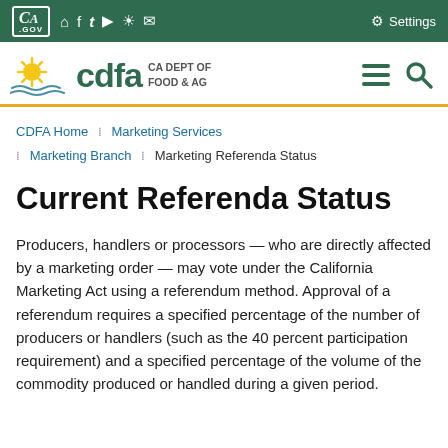CA.GOV | Settings
[Figure (logo): CDFA - CA Dept of Food & Ag logo with sun graphic, hamburger menu and search icon]
CDFA Home : Marketing Services : Marketing Branch : Marketing Referenda Status
Current Referenda Status
Producers, handlers or processors — who are directly affected by a marketing order — may vote under the California Marketing Act using a referendum method. Approval of a referendum requires a specified percentage of the number of producers or handlers (such as the 40 percent participation requirement) and a specified percentage of the volume of the commodity produced or handled during a given period.